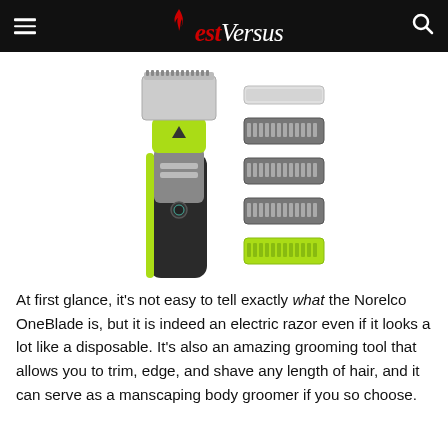best versus
[Figure (photo): Philips Norelco OneBlade electric razor/grooming tool shown with device body in black and lime green, plus multiple blade guard attachments of varying heights shown to the right]
At first glance, it's not easy to tell exactly what the Norelco OneBlade is, but it is indeed an electric razor even if it looks a lot like a disposable. It's also an amazing grooming tool that allows you to trim, edge, and shave any length of hair, and it can serve as a manscaping body groomer if you so choose.